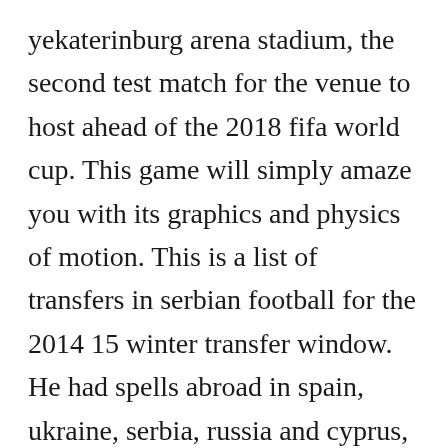yekaterinburg arena stadium, the second test match for the venue to host ahead of the 2018 fifa world cup. This game will simply amaze you with its graphics and physics of motion. This is a list of transfers in serbian football for the 2014 15 winter transfer window. He had spells abroad in spain, ukraine, serbia, russia and cyprus, notably having a fiveyear spell with karpaty lviv in the ukrainian premier league and winning the 2014 15 serbian superliga. Download 884 belgrade arena stock photos for free or amazingly low rates. Gregor [continues...]